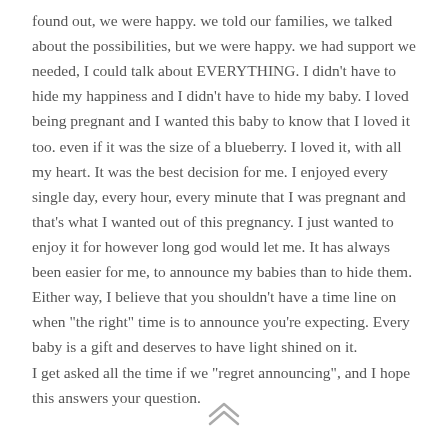found out, we were happy. we told our families, we talked about the possibilities, but we were happy. we had support we needed, I could talk about EVERYTHING. I didn't have to hide my happiness and I didn't have to hide my baby. I loved being pregnant and I wanted this baby to know that I loved it too. even if it was the size of a blueberry. I loved it, with all my heart. It was the best decision for me. I enjoyed every single day, every hour, every minute that I was pregnant and that's what I wanted out of this pregnancy. I just wanted to enjoy it for however long god would let me. It has always been easier for me, to announce my babies than to hide them. Either way, I believe that you shouldn't have a time line on when "the right" time is to announce you're expecting. Every baby is a gift and deserves to have light shined on it.
I get asked all the time if we "regret announcing", and I hope this answers your question.
[Figure (other): A double chevron/arrow up icon at the bottom center of the page]